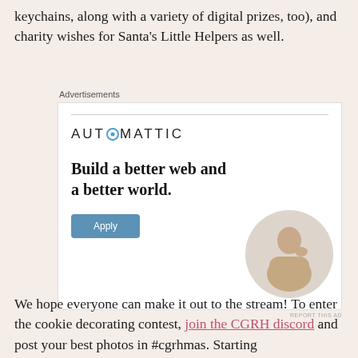keychains, along with a variety of digital prizes, too), and charity wishes for Santa's Little Helpers as well.
[Figure (other): Automattic advertisement banner. Shows 'AUTOMATTIC' logo with a blue circle O. Tagline reads 'Build a better web and a better world.' with an Apply button and a photo of a person thinking.]
We hope everyone can make it out to the stream! To enter the cookie decorating contest, join the CGRH discord and post your best photos in #cgrhmas. Starting